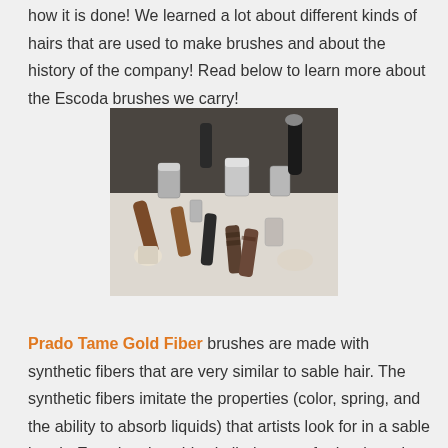how it is done! We learned a lot about different kinds of hairs that are used to make brushes and about the history of the company! Read below to learn more about the Escoda brushes we carry!
[Figure (photo): Photograph of various brush components including metal ferrules, wooden handles, and brush heads scattered on a white surface]
Prado Tame Gold Fiber brushes are made with synthetic fibers that are very similar to sable hair. The synthetic fibers imitate the properties (color, spring, and the ability to absorb liquids) that artists look for in a sable brush. Escoda takes this similarity even further by using a combination of three different diameters and